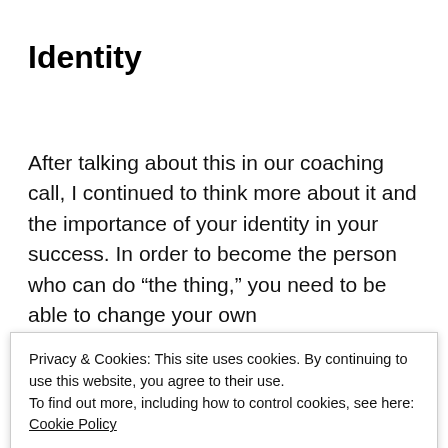Identity
After talking about this in our coaching call, I continued to think more about it and the importance of your identity in your success. In order to become the person who can do “the thing,” you need to be able to change your own
Privacy & Cookies: This site uses cookies. By continuing to use this website, you agree to their use.
To find out more, including how to control cookies, see here: Cookie Policy
Close and accept